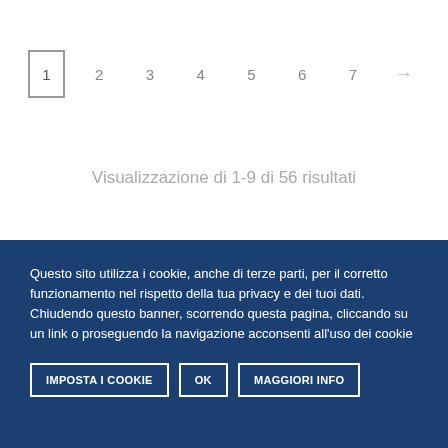[Figure (other): Pagination navigation showing pages 1 (active, bordered), 2, 3, 4, 5, 6, 7, and a right arrow]
Visualizzazione di 1-9 di 56 risultati
Questo sito utilizza i cookie, anche di terze parti, per il corretto funzionamento nel rispetto della tua privacy e dei tuoi dati. Chiudendo questo banner, scorrendo questa pagina, cliccando su un link o proseguendo la navigazione acconsenti all'uso dei cookie
IMPOSTA I COOKIE   OK   MAGGIORI INFO